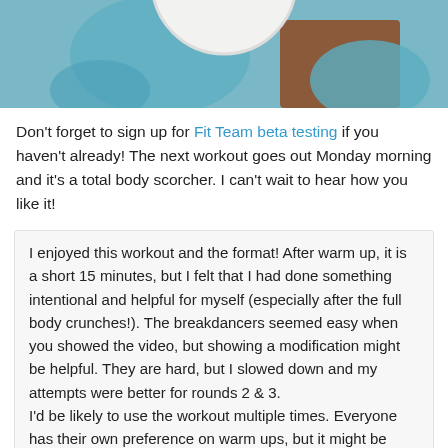[Figure (photo): Cropped top portion of a photo showing a white plate on a surface with blue and brown/wood tones visible]
Don't forget to sign up for Fit Team beta testing if you haven't already! The next workout goes out Monday morning and it's a total body scorcher. I can't wait to hear how you like it!
I enjoyed this workout and the format!  After warm up, it is a short 15 minutes, but I felt that I had done something intentional and helpful for myself (especially after the full body crunches!).  The breakdancers seemed easy when you showed the video, but showing a modification might be helpful.  They are hard, but I slowed down and my attempts were better for rounds 2 & 3.
I'd be likely to use the workout multiple times. Everyone has their own preference on warm ups, but it might be helpful to give an example of what to do. The workout itself is easy enough to remember what